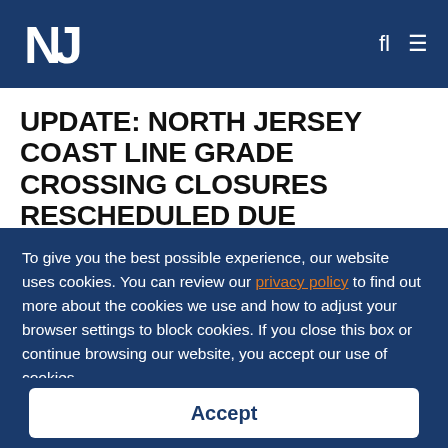NJ Transit logo and navigation header
UPDATE: NORTH JERSEY COAST LINE GRADE CROSSING CLOSURES RESCHEDULED DUE
To give you the best possible experience, our website uses cookies. You can review our privacy policy to find out more about the cookies we use and how to adjust your browser settings to block cookies. If you close this box or continue browsing our website, you accept our use of cookies.
Accept